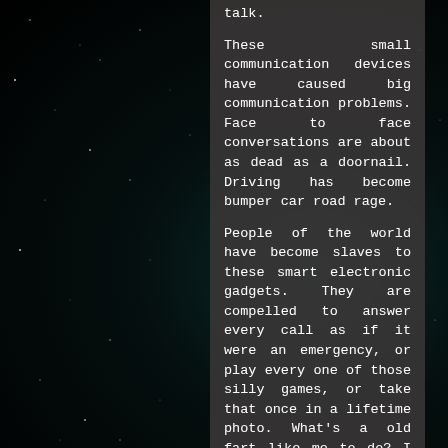talk.
These small communication devices have caused big communication problems. Face to face conversations are about as dead as a doornail. Driving has become bumper car road rage.
People of the world have become slaves to these smart electronic gadgets. They are compelled to answer every call as if it were an emergency, or play every one of those silly games, or take that once in a lifetime photo. What's a old fart like me to do? I don't have nor want one of those bothersome smart gadgets. My dumb flip phone works just fine in cases of an emergency.
Should I submit and join those addicted? I don't know how much